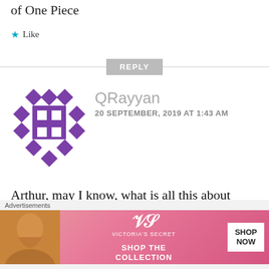of One Piece
★ Like
REPLY
[Figure (illustration): Purple diamond/square geometric pattern avatar icon for user QRayyan]
QRayyan
20 SEPTEMBER, 2019 AT 1:43 AM
Arthur, may I know, what is all this about Fujitora and Sabo connection? From which chapter? I think I miss this
★ Like
Advertisements
[Figure (illustration): Victoria's Secret advertisement banner: pink gradient background with a model photo on the left, VS logo in center, SHOP THE COLLECTION text, and SHOP NOW button on right]